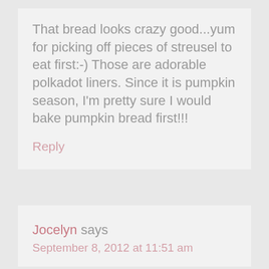That bread looks crazy good...yum for picking off pieces of streusel to eat first:-) Those are adorable polkadot liners. Since it is pumpkin season, I'm pretty sure I would bake pumpkin bread first!!!
Reply
Jocelyn says
September 8, 2012 at 11:51 am